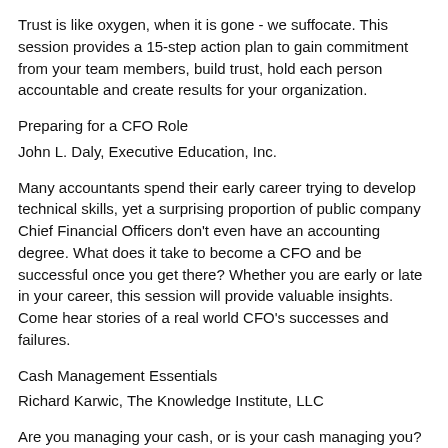Trust is like oxygen, when it is gone - we suffocate. This session provides a 15-step action plan to gain commitment from your team members, build trust, hold each person accountable and create results for your organization.
Preparing for a CFO Role
John L. Daly, Executive Education, Inc.
Many accountants spend their early career trying to develop technical skills, yet a surprising proportion of public company Chief Financial Officers don't even have an accounting degree. What does it take to become a CFO and be successful once you get there? Whether you are early or late in your career, this session will provide valuable insights. Come hear stories of a real world CFO's successes and failures.
Cash Management Essentials
Richard Karwic, The Knowledge Institute, LLC
Are you managing your cash, or is your cash managing you? Can you effectively project cash position a week, month or year from now? This seminar demonstrates cash management processes that will